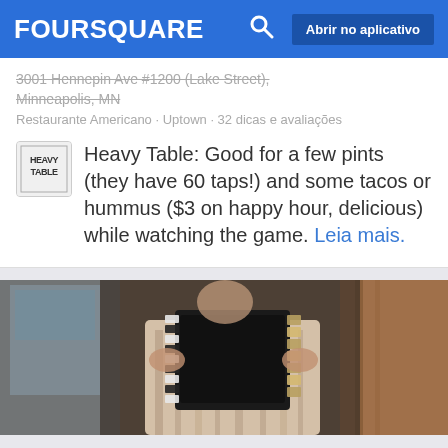FOURSQUARE  Abrir no aplicativo
3001 Hennepin Ave #1200 (Lake Street), Minneapolis, MN
Restaurante Americano · Uptown · 32 dicas e avaliações
Heavy Table: Good for a few pints (they have 60 taps!) and some tacos or hummus ($3 on happy hour, delicious) while watching the game. Leia mais.
[Figure (photo): A person playing a dark-colored accordion, wearing a striped outfit, in front of a wooden background.]